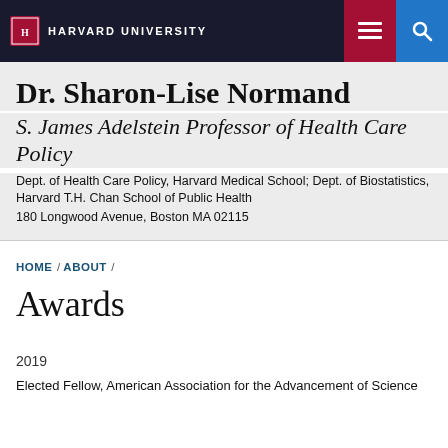HARVARD UNIVERSITY
Dr. Sharon-Lise Normand
S. James Adelstein Professor of Health Care Policy
Dept. of Health Care Policy, Harvard Medical School; Dept. of Biostatistics, Harvard T.H. Chan School of Public Health
180 Longwood Avenue, Boston MA 02115
HOME / ABOUT /
Awards
2019
Elected Fellow, American Association for the Advancement of Science